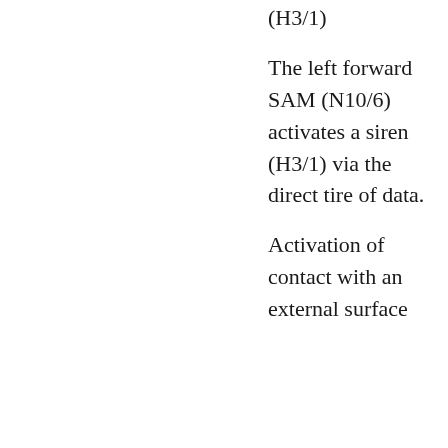(H3/1)
The left forward SAM (N10/6) activates a siren (H3/1) via the direct tire of data.
Activation of contact with an external surface